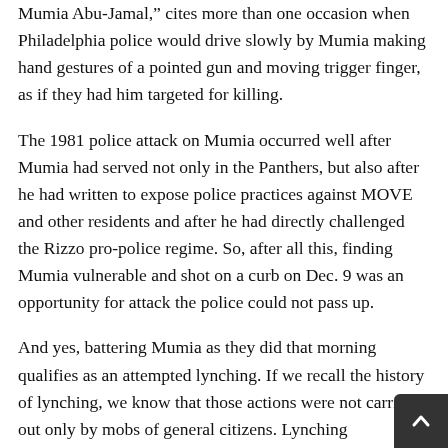Mumia Abu-Jamal," cites more than one occasion when Philadelphia police would drive slowly by Mumia making hand gestures of a pointed gun and moving trigger finger, as if they had him targeted for killing.
The 1981 police attack on Mumia occurred well after Mumia had served not only in the Panthers, but also after he had written to expose police practices against MOVE and other residents and after he had directly challenged the Rizzo pro-police regime. So, after all this, finding Mumia vulnerable and shot on a curb on Dec. 9 was an opportunity for attack the police could not pass up.
And yes, battering Mumia as they did that morning qualifies as an attempted lynching. If we recall the history of lynching, we know that those actions were not carried out only by mobs of general citizens. Lynching participants also included such officials as police, lawyers, even judges and local pastors, clad in Klan costumery or other disguise. And some felt embolden...